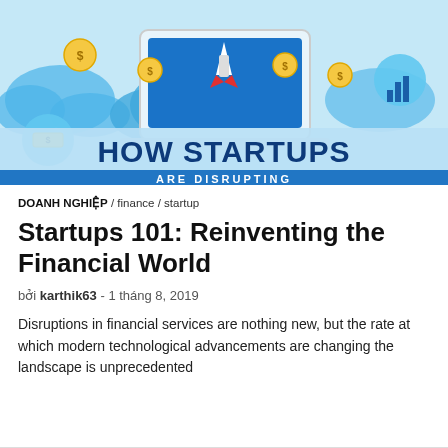[Figure (illustration): Infographic banner showing 'HOW STARTUPS ARE DISRUPTING' with a laptop, rocket, coins, dollar signs and financial icons on a light blue background with dark blue bold text.]
DOANH NGHIỆP / finance / startup
Startups 101: Reinventing the Financial World
bởi karthik63 - 1 tháng 8, 2019
Disruptions in financial services are nothing new, but the rate at which modern technological advancements are changing the landscape is unprecedented